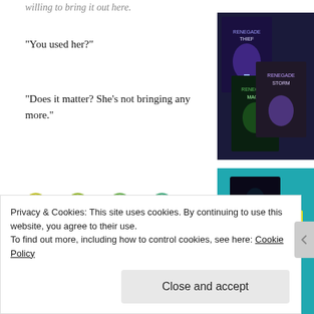willing to bring it out here.
“You used her?”
“Does it matter? She’s not bringing any more.”
[Figure (photo): Stack of fantasy book covers: Renegade Thief, Renegade Magic, Renegade Storm]
[Figure (other): Decorative squiggly wavy line divider in yellow-green and teal colors]
Oh!  Don’t you just want to smack him upside the head!!!!
[Figure (photo): Book cover for Platform Dweller on teal background with coloring book and markers]
Okay, your turn!
[Figure (photo): Partial photo at bottom right, green and brown tones]
Privacy & Cookies: This site uses cookies. By continuing to use this website, you agree to their use.
To find out more, including how to control cookies, see here: Cookie Policy